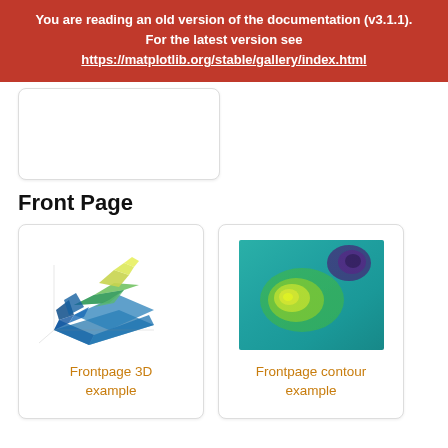You are reading an old version of the documentation (v3.1.1). For the latest version see https://matplotlib.org/stable/gallery/index.html
[Figure (other): Blank placeholder card/image area]
Front Page
[Figure (illustration): Frontpage 3D example - a 3D surface plot with blue-green-yellow coloring]
Frontpage 3D example
[Figure (other): Frontpage contour example - a 2D heatmap/contour plot with teal background, yellow-green bright spot, and dark purple region]
Frontpage contour example